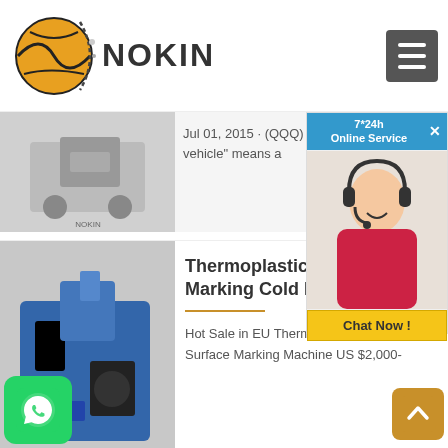NOKIN
Jul 01, 2015 · (QQQ)  Highway maintenance vehicle" means a
Thermoplastic Road Line Marking Cold Plastic
Hot Sale in EU Thermoplastic Road Surface Marking Machine US $2,000-
Road Marking Machine Supplier in China
[Figure (photo): Customer support agent with headset - 7*24h Online Service chat widget with Chat Now button]
[Figure (photo): Road marking machine - small wheeled spraying equipment on pavement (top article)]
[Figure (photo): Road marking machine - blue industrial spraying machine]
[Figure (photo): Worker in orange safety vest operating road marking equipment on street]